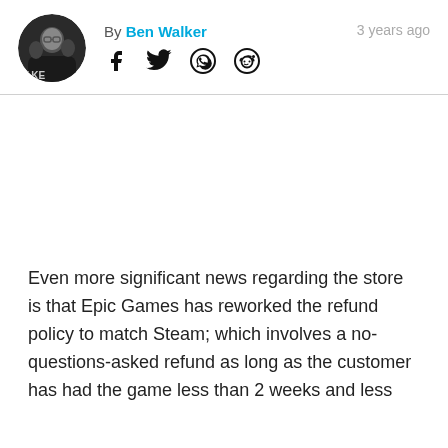By Ben Walker   3 years ago
[Figure (photo): Circular avatar photo of Ben Walker, person wearing dark clothing]
[Figure (other): Social media icons: Facebook, Twitter, WhatsApp, Reddit]
Even more significant news regarding the store is that Epic Games has reworked the refund policy to match Steam; which involves a no-questions-asked refund as long as the customer has had the game less than 2 weeks and less